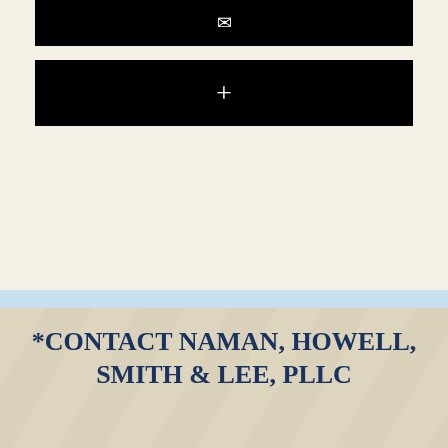[Figure (other): Black bar with envelope icon]
[Figure (other): Black bar with plus icon]
*CONTACT NAMAN, HOWELL, SMITH & LEE, PLLC
Name
Email
Phone